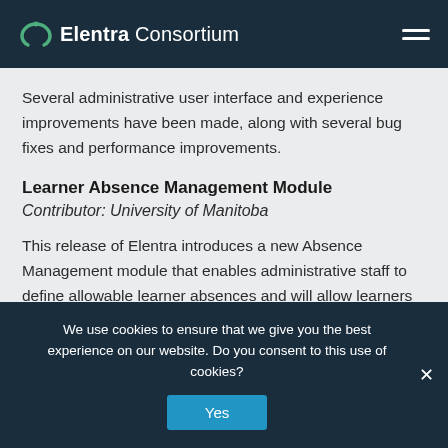Elentra Consortium
Several administrative user interface and experience improvements have been made, along with several bug fixes and performance improvements.
Learner Absence Management Module
Contributor: University of Manitoba
This release of Elentra introduces a new Absence Management module that enables administrative staff to define allowable learner absences and will allow learners to log their absences where appropriate. Administrative
We use cookies to ensure that we give you the best experience on our website. Do you consent to this use of cookies?